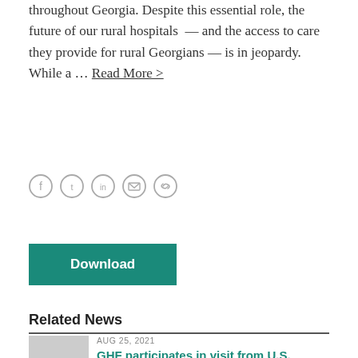throughout Georgia. Despite this essential role, the future of our rural hospitals — and the access to care they provide for rural Georgians — is in jeopardy. While a … Read More >
[Figure (other): Social media sharing icons: Facebook, Twitter, LinkedIn, Email, Link]
Download
Related News
AUG 25, 2021
GHF participates in visit from U.S. Department of Health and Human Services Secretary Becerra
y: Knetta Adkins On August 2nd, I had the opportunity to meet with Secretary Xavier...